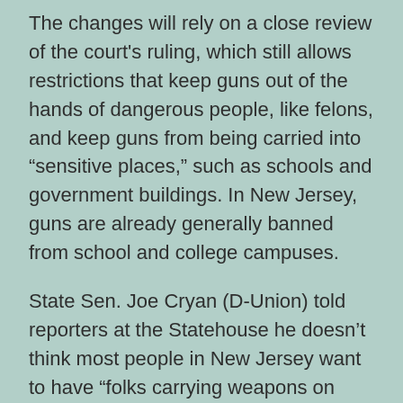The changes will rely on a close review of the court's ruling, which still allows restrictions that keep guns out of the hands of dangerous people, like felons, and keep guns from being carried into “sensitive places,” such as schools and government buildings. In New Jersey, guns are already generally banned from school and college campuses.
State Sen. Joe Cryan (D-Union) told reporters at the Statehouse he doesn’t think most people in New Jersey want to have “folks carrying weapons on hips in supermarkets.”